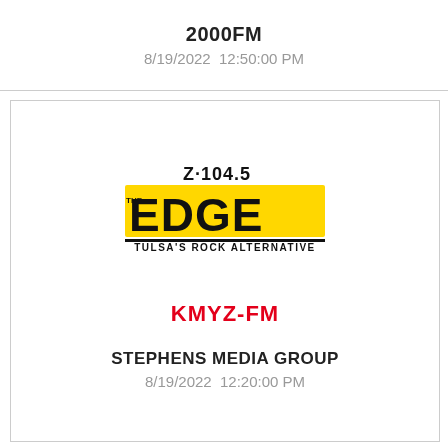2000FM
8/19/2022  12:50:00 PM
[Figure (logo): Z-104.5 The Edge - Tulsa's Rock Alternative radio station logo. Yellow and black design with large bold text 'EDGE' and smaller text 'Z104.5 THE' above it, with 'TULSA'S ROCK ALTERNATIVE' below.]
KMYZ-FM
STEPHENS MEDIA GROUP
8/19/2022  12:20:00 PM